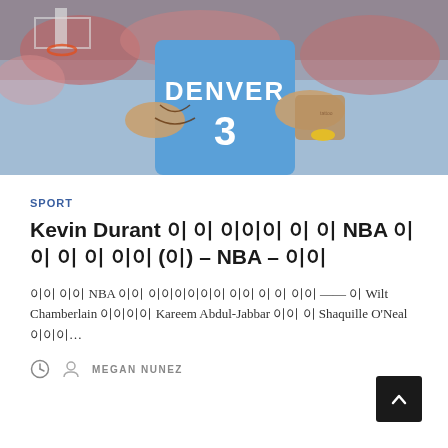[Figure (photo): Basketball player in a Denver Nuggets #3 blue jersey dribbling the ball, with tattoos visible on arms, crowd in background]
SPORT
Kevin Durant 이 이 이이이 이 이 NBA 이이 이 이 이이 (이) – NBA – 이이
이이 이이 NBA 이이 이이이이이이 이이 이 이 이이 —— 이 Wilt Chamberlain 이이이이 Kareem Abdul-Jabbar 이이 이 Shaquille O'Neal이이이…
MEGAN NUNEZ